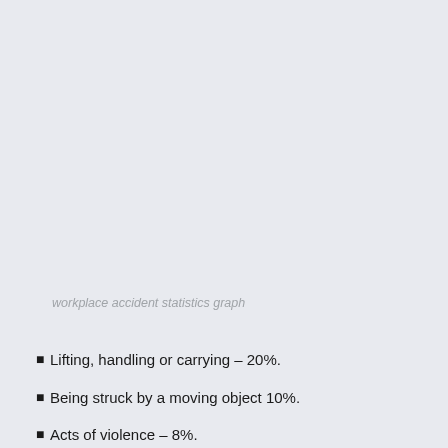workplace accident statistics graph
Lifting, handling or carrying – 20%.
Being struck by a moving object 10%.
Acts of violence – 8%.